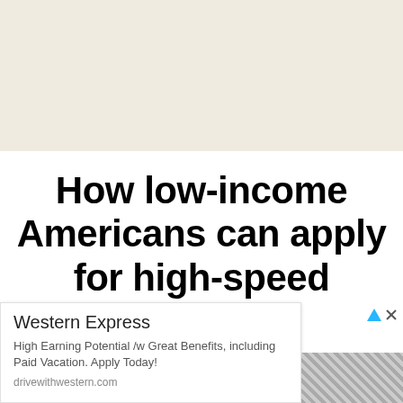[Figure (other): Beige/cream colored background area filling upper portion of page]
How low-income Americans can apply for high-speed internet
ments
[Figure (other): Advertisement overlay: Western Express. High Earning Potential /w Great Benefits, including Paid Vacation. Apply Today! drivewithwestern.com with OPEN button]
[Figure (photo): Bottom right photo showing a checkered/plaid fabric pattern]